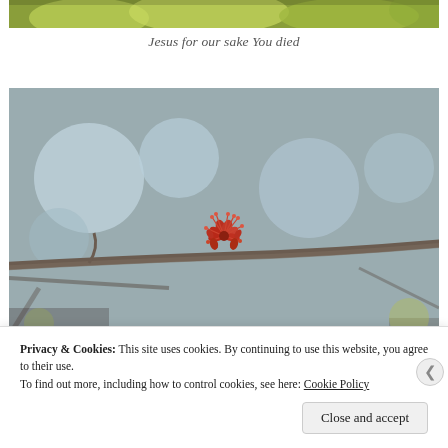[Figure (photo): Top portion of a nature photo showing yellow-green flowers or foliage, partially cropped at the top of the page]
Jesus for our sake You died
[Figure (photo): Close-up photograph of a small red maple flower blossom on a bare branch, with blurred grey trees and bokeh in the background]
Privacy & Cookies: This site uses cookies. By continuing to use this website, you agree to their use.
To find out more, including how to control cookies, see here: Cookie Policy
Close and accept